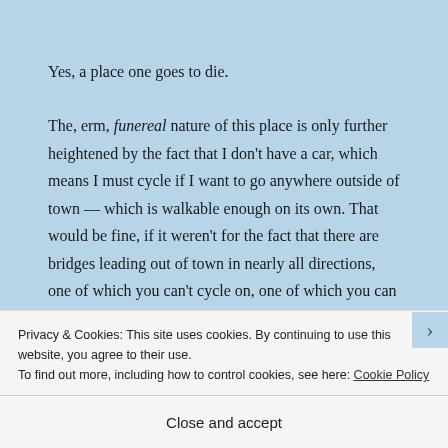Yes, a place one goes to die.
The, erm, funereal nature of this place is only further heightened by the fact that I don't have a car, which means I must cycle if I want to go anywhere outside of town — which is walkable enough on its own. That would be fine, if it weren't for the fact that there are bridges leading out of town in nearly all directions, one of which you can't cycle on, one of which you can but which appears most foreboding, and another of which I have cycled on
Privacy & Cookies: This site uses cookies. By continuing to use this website, you agree to their use.
To find out more, including how to control cookies, see here: Cookie Policy
Close and accept